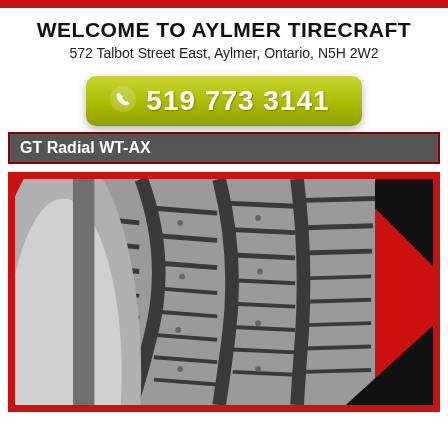WELCOME TO AYLMER TIRECRAFT
572 Talbot Street East, Aylmer, Ontario, N5H 2W2
519 773 3141
GT Radial WT-AX
[Figure (photo): Close-up photo of a GT Radial WT-AX winter tire tread pattern showing deep grooves and sipes on a red background]